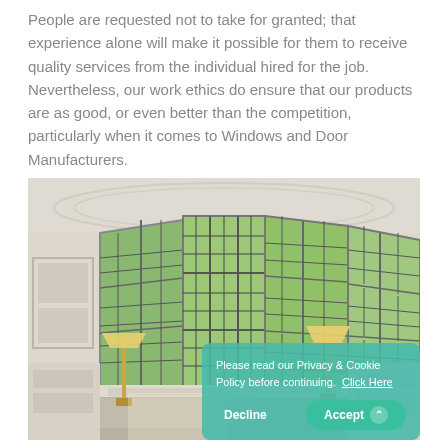People are requested not to take for granted; that experience alone will make it possible for them to receive quality services from the individual hired for the job. Nevertheless, our work ethics do ensure that our products are as good, or even better than the competition, particularly when it comes to Windows and Door Manufacturers.
[Figure (photo): Interior room with large bay window featuring multiple grid-pane windows letting in green garden light, two brass floor lamps on either side, white wainscoting walls, with a cookie consent banner overlay in the bottom-right corner.]